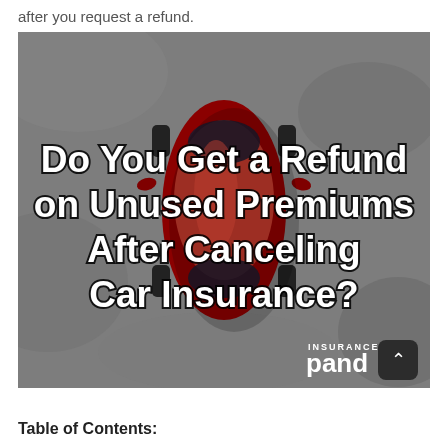after you request a refund.
[Figure (photo): Aerial top-down view of a red car on grey pavement, with overlaid bold white text reading 'Do You Get a Refund on Unused Premiums After Canceling Car Insurance?' and Insurance Panda branding in the lower right corner.]
Table of Contents: